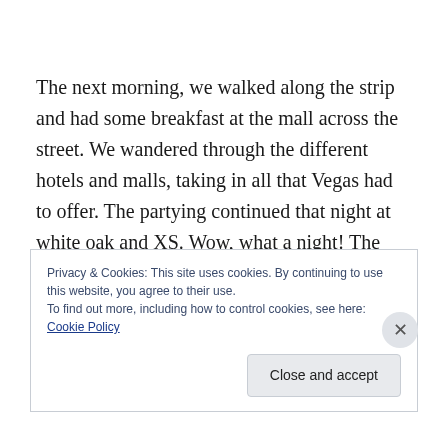The next morning, we walked along the strip and had some breakfast at the mall across the street. We wandered through the different hotels and malls, taking in all that Vegas had to offer. The partying continued that night at white oak and XS. Wow, what a night! The next day was spent wandering on the strip, seeing the other hotels, and window shopping. The final day was spent sunbathing by the pool. By this point, I had gotten used to
Privacy & Cookies: This site uses cookies. By continuing to use this website, you agree to their use.
To find out more, including how to control cookies, see here: Cookie Policy